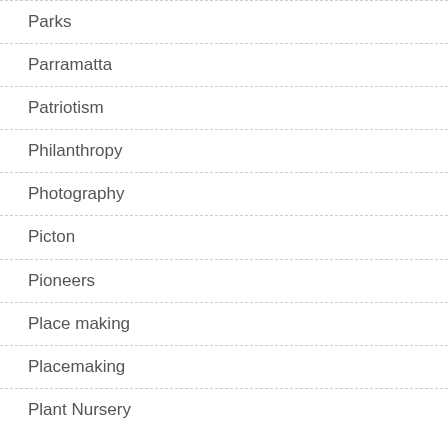Parks
Parramatta
Patriotism
Philanthropy
Photography
Picton
Pioneers
Place making
Placemaking
Plant Nursery